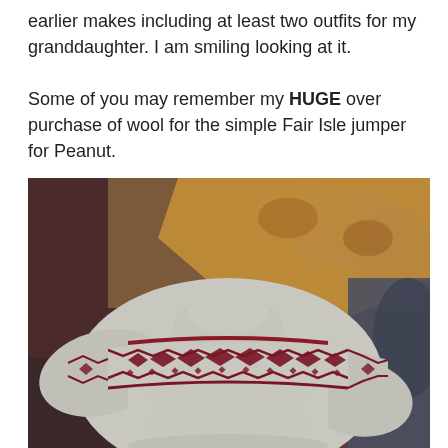earlier makes including at least two outfits for my granddaughter. I am smiling looking at it.

Some of you may remember my HUGE over purchase of wool for the simple Fair Isle jumper for Peanut.
[Figure (photo): A grey knitted Fair Isle jumper (sweater) for a child, laid flat on a patterned fabric surface. The jumper features a yoke with a dark red/maroon Fair Isle colorwork band with geometric diamond and zigzag patterns around the shoulders and chest.]